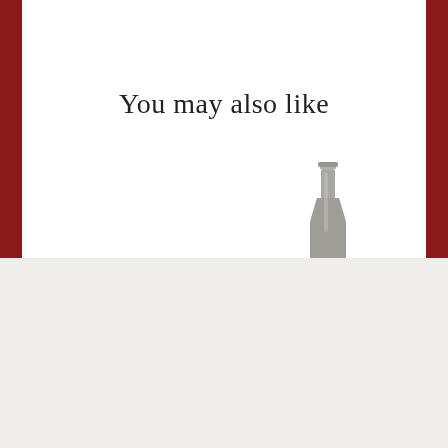You may also like
[Figure (illustration): Top portion of a wine bottle in gray/silver tones]
Get the scoop on new arrivals, special promos and sales.
Email Address
ENTER
FOLLOW US